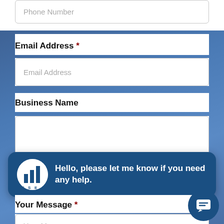[Figure (screenshot): Phone Number input field (partially visible at top)]
Email Address *
[Figure (screenshot): Email Address input field]
Business Name
[Figure (screenshot): Business Name input field (tall/empty)]
State
[Figure (other): Chat bubble with GSF logo avatar and message: Hello, please let me know if you need any help.]
Your Message *
[Figure (screenshot): Your Message input field (partially visible at bottom)]
[Figure (other): Chat icon button (circular, dark blue with speech bubble icon)]